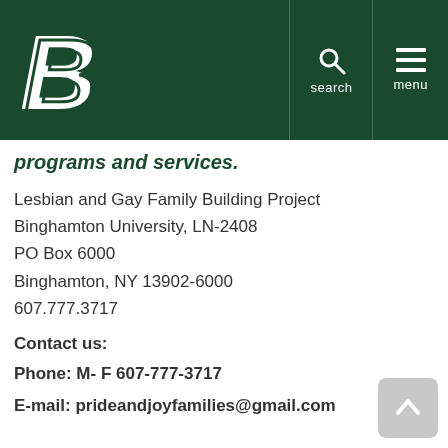Binghamton University – search / menu navigation header
programs and services.
Lesbian and Gay Family Building Project
Binghamton University, LN-2408
PO Box 6000
Binghamton, NY 13902-6000
607.777.3717
Contact us:
Phone: M- F 607-777-3717
E-mail: prideandjoyfamilies@gmail.com